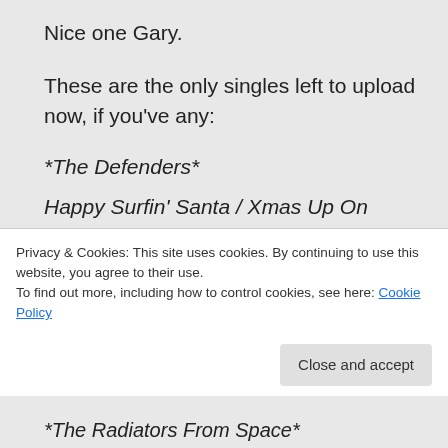Nice one Gary.
These are the only singles left to upload now, if you've any:
*The Defenders*
Happy Surfin' Santa / Xmas Up On Venus – 1979
*The Fashions*
All I Own In Dublin (Are The Bars) / The Secrets Of Young Brides – 1982
Privacy & Cookies: This site uses cookies. By continuing to use this website, you agree to their use. To find out more, including how to control cookies, see here: Cookie Policy
*The Radiators From Space*